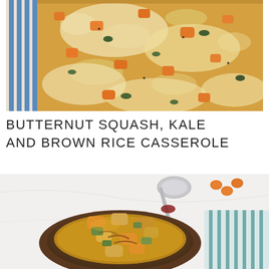[Figure (photo): Close-up overhead shot of a baking dish with butternut squash, kale, and brown rice casserole topped with melted cheese, with a blue striped cloth visible on the left side.]
BUTTERNUT SQUASH, KALE AND BROWN RICE CASSEROLE
[Figure (photo): Overhead shot of a rustic dark bowl filled with chunky vegetable soup or stew containing butternut squash, celery, and other vegetables in broth, with a silver spoon beside the bowl, small orange carrot coins scattered nearby, and a teal striped cloth in the corner, all on a white marble surface.]